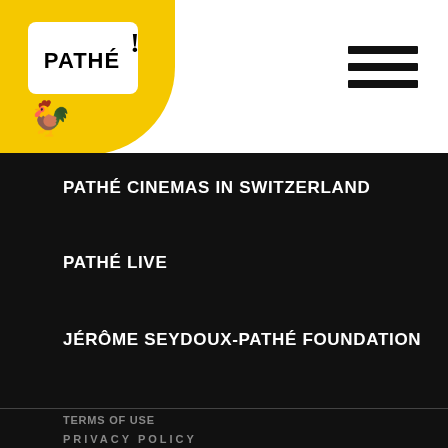[Figure (logo): Pathé logo on yellow circle background with rooster silhouette]
[Figure (other): Hamburger menu icon (three horizontal lines)]
PATHÉ CINEMAS IN SWITZERLAND
PATHÉ LIVE
JÉRÔME SEYDOUX-PATHÉ FOUNDATION
TERMS OF USE
PRIVACY POLICY
[Figure (other): Social media icons: Facebook, Twitter, Instagram, YouTube — yellow circles on black background]